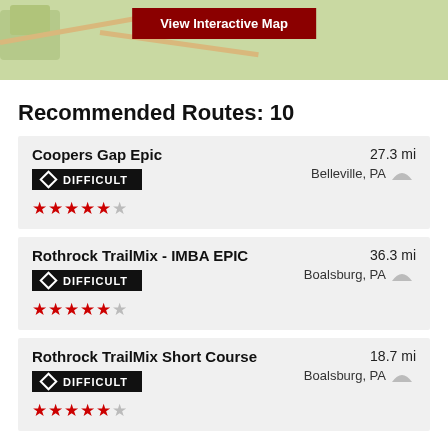[Figure (map): Map background with a 'View Interactive Map' button overlay]
Recommended Routes: 10
Coopers Gap Epic | DIFFICULT | 27.3 mi | Belleville, PA | 4.5 stars
Rothrock TrailMix - IMBA EPIC | DIFFICULT | 36.3 mi | Boalsburg, PA | 4.5 stars
Rothrock TrailMix Short Course | DIFFICULT | 18.7 mi | Boalsburg, PA | 4.5 stars
Bald Knob & The Laurels Loop | 13.1 mi